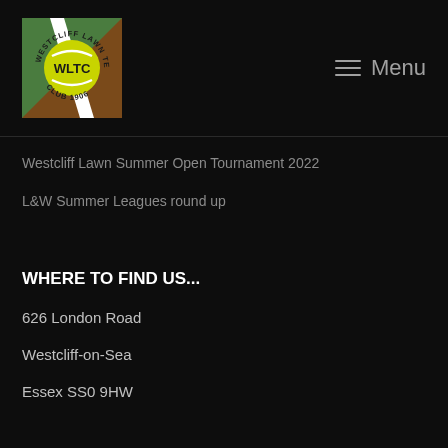[Figure (logo): Westcliff Lawn Tennis Club logo with WLTC text and tennis ball on green and brown background]
Menu
Westcliff Lawn Summer Open Tournament 2022
L&W Summer Leagues round up
WHERE TO FIND US...
626 London Road
Westcliff-on-Sea
Essex SS0 9HW